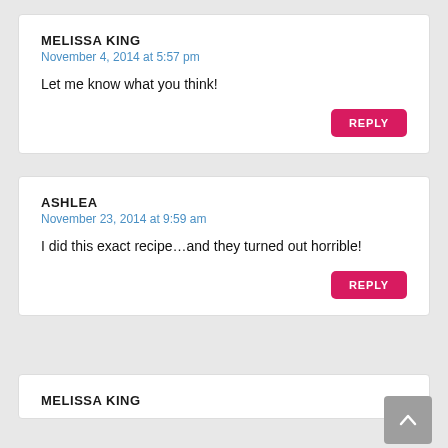MELISSA KING
November 4, 2014 at 5:57 pm
Let me know what you think!
REPLY
ASHLEA
November 23, 2014 at 9:59 am
I did this exact recipe…and they turned out horrible!
REPLY
MELISSA KING